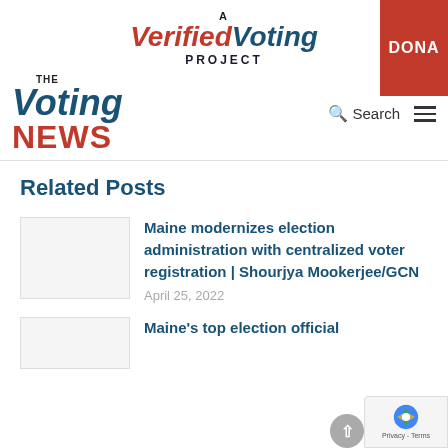[Figure (logo): A Verified Voting Project logo with red italic 'Verified' and blue italic 'Voting' text, with 'PROJECT' below in dark bold capitals]
[Figure (logo): The Voting News logo with blue italic 'Voting' and red bold 'NEWS' text]
Related Posts
Maine modernizes election administration with centralized voter registration | Shourjya Mookerjee/GCN
April 25, 2022
Maine's top election official